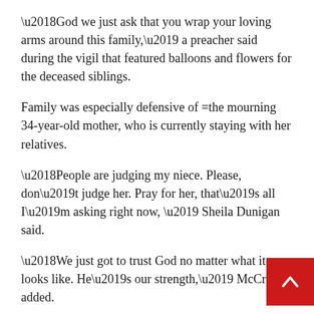‘God we just ask that you wrap your loving arms around this family,’ a preacher said during the vigil that featured balloons and flowers for the deceased siblings.
Family was especially defensive of =the mourning 34-year-old mother, who is currently staying with her relatives.
‘People are judging my niece. Please, don’t judge her. Pray for her, that’s all I’m asking right now, ’ Sheila Dunigan said.
‘We just got to trust God no matter what it looks like. He’s our strength,’ McCray added.
The East St Louis School District, where three of the children were students, described the blaz… tragedy.